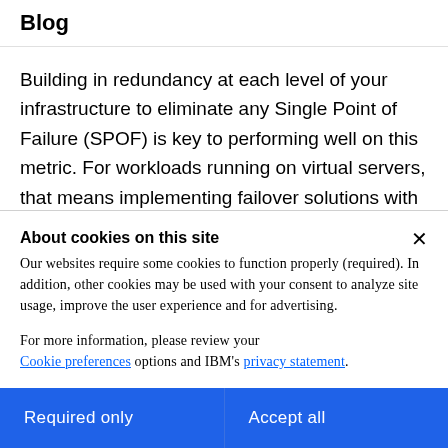Blog
Building in redundancy at each level of your infrastructure to eliminate any Single Point of Failure (SPOF) is key to performing well on this metric. For workloads running on virtual servers, that means implementing failover solutions with multiple virtual servers that can automatically fill in for each other in the
About cookies on this site
Our websites require some cookies to function properly (required). In addition, other cookies may be used with your consent to analyze site usage, improve the user experience and for advertising.
For more information, please review your Cookie preferences options and IBM's privacy statement.
Required only
Accept all